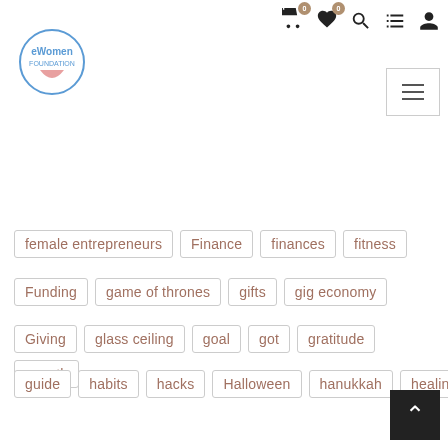eWomen Foundation navigation header with cart, wishlist, search, filter, and account icons
female entrepreneurs
Finance
finances
fitness
Funding
game of thrones
gifts
gig economy
Giving
glass ceiling
goal
got
gratitude
growth
guide
habits
hacks
Halloween
hanukkah
healing
health
hobby
holidays
holisitic
home office
How to get speaking opportunities
How to grow your business
How to increase your income
How to scale your business
Hybrid Events
icon
ICON